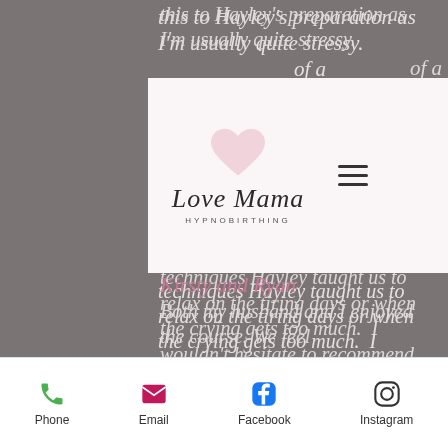[Figure (logo): Love Mama Hypnobirthing logo with script text and pink heart]
this to Hayley's preparation as I'm usually quite stressy. ...of a ...me techniques Hayley taught us to relax on the tiring days or when the crying gets too much. I wouldn't hesitate to recommend her.'
Kirsty and Ryan
Both my husband and I enjoyed the course. We feel
Phone  Email  Facebook  Instagram